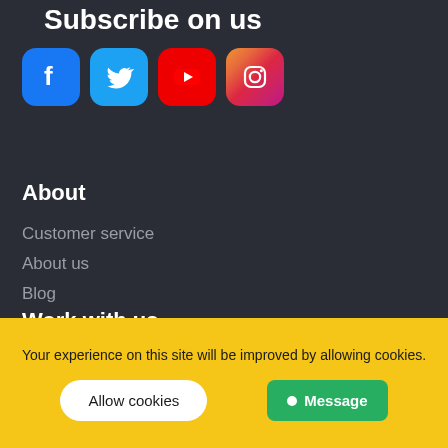Subscribe on us
[Figure (illustration): Four social media icons: Facebook (blue), Twitter (light blue), YouTube (red), Instagram (gradient pink/purple)]
About
Customer service
About us
Blog
Work with us
Your experience on this site will be improved by allowing cookies.
Allow cookies
Message